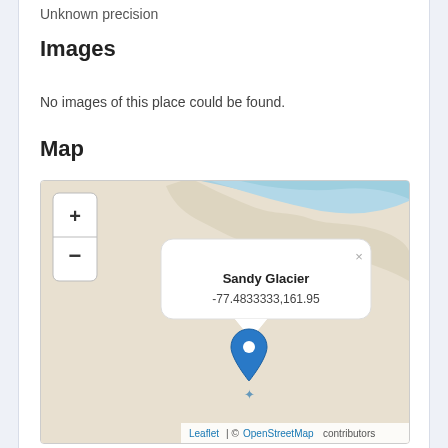Unknown precision
Images
No images of this place could be found.
Map
[Figure (map): OpenStreetMap showing Sandy Glacier location at coordinates -77.4833333,161.95 with a blue location pin and popup label. Map shows Antarctic coastline with beige land and blue water. Zoom controls (+/-) visible top left. Attribution: Leaflet | © OpenStreetMap contributors.]